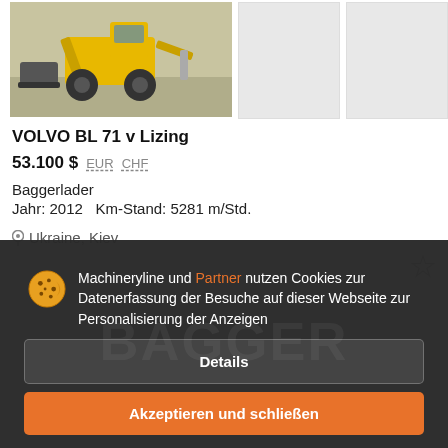[Figure (photo): Yellow Volvo BL71 backhoe loader machine, front view with bucket, parked on gravel/concrete surface]
VOLVO BL 71 v Lizing
53.100 $ EUR CHF
Baggerlader
Jahr: 2012   Km-Stand: 5281 m/Std.
Ukraine, Kiev
Machineryline und Partner nutzen Cookies zur Datenerfassung der Besuche auf dieser Webseite zur Personalisierung der Anzeigen
Details
Akzeptieren und schließen